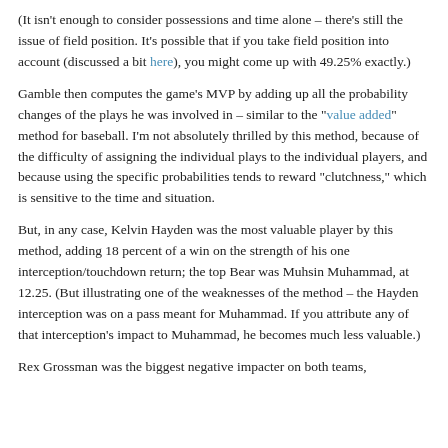(It isn't enough to consider possessions and time alone – there's still the issue of field position. It's possible that if you take field position into account (discussed a bit here), you might come up with 49.25% exactly.)
Gamble then computes the game's MVP by adding up all the probability changes of the plays he was involved in – similar to the "value added" method for baseball. I'm not absolutely thrilled by this method, because of the difficulty of assigning the individual plays to the individual players, and because using the specific probabilities tends to reward "clutchness," which is sensitive to the time and situation.
But, in any case, Kelvin Hayden was the most valuable player by this method, adding 18 percent of a win on the strength of his one interception/touchdown return; the top Bear was Muhsin Muhammad, at 12.25. (But illustrating one of the weaknesses of the method – the Hayden interception was on a pass meant for Muhammad. If you attribute any of that interception's impact to Muhammad, he becomes much less valuable.)
Rex Grossman was the biggest negative impacter on both teams,